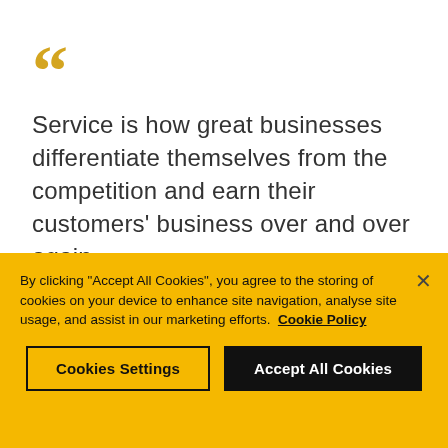Service is how great businesses differentiate themselves from the competition and earn their customers' business over and over again.
By clicking "Accept All Cookies", you agree to the storing of cookies on your device to enhance site navigation, analyse site usage, and assist in our marketing efforts. Cookie Policy
Cookies Settings
Accept All Cookies